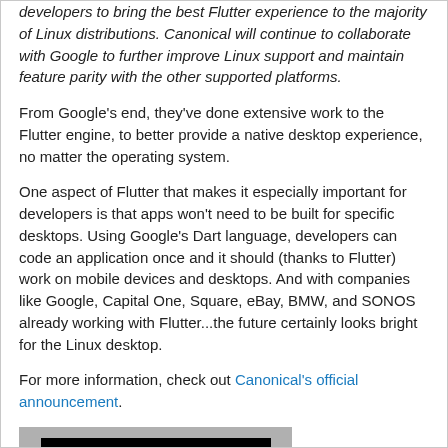developers to bring the best Flutter experience to the majority of Linux distributions. Canonical will continue to collaborate with Google to further improve Linux support and maintain feature parity with the other supported platforms.
From Google's end, they've done extensive work to the Flutter engine, to better provide a native desktop experience, no matter the operating system.
One aspect of Flutter that makes it especially important for developers is that apps won't need to be built for specific desktops. Using Google's Dart language, developers can code an application once and it should (thanks to Flutter) work on mobile devices and desktops. And with companies like Google, Capital One, Square, eBay, BMW, and SONOS already working with Flutter...the future certainly looks bright for the Linux desktop.
For more information, check out Canonical's official announcement.
[Figure (logo): LINUX logo in white bold text on a black rectangular background, set against a gray background]